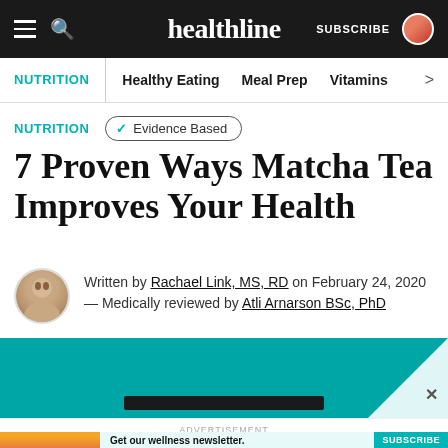healthline | SUBSCRIBE
NUTRITION | Healthy Eating | Meal Prep | Vitamins
NUTRITION ✓ Evidence Based
7 Proven Ways Matcha Tea Improves Your Health
Written by Rachael Link, MS, RD on February 24, 2020 — Medically reviewed by Atli Arnarson BSc, PhD
[Figure (infographic): Advertisement banner with teal background, close button, and dark bar overlay]
[Figure (infographic): Ad banner: illustrated woman with orange/red background, text 'Get our wellness newsletter.' and teal SUBSCRIBE button]